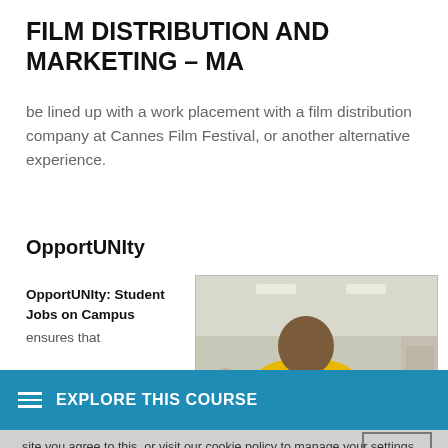FILM DISTRIBUTION AND MARKETING - MA
be lined up with a work placement with a film distribution company at Cannes Film Festival, or another alternative experience.
OpportUNIty
OpportUNIty: Student Jobs on Campus ensures that
[Figure (photo): Person wearing yellow 'STUDENT' t-shirt viewed from behind, with other students in background at what appears to be a campus event]
EXPLORE THIS COURSE
site you agree to this, or visit our cookie policy to manage your settings.